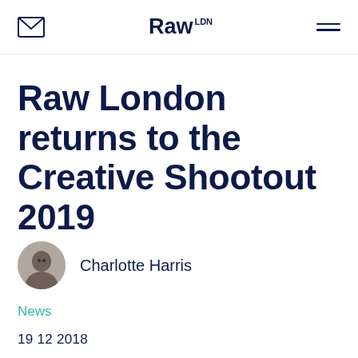Raw LDN
Raw London returns to the Creative Shootout 2019
Charlotte Harris
News
19 12 2018